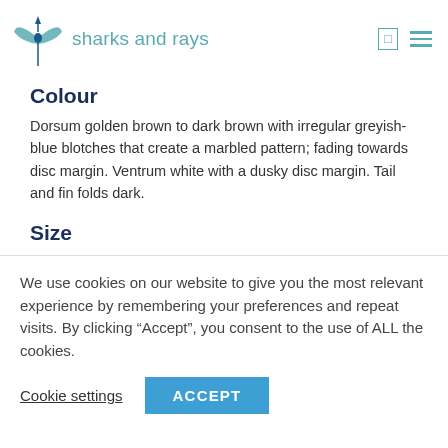sharks and rays
Colour
Dorsum golden brown to dark brown with irregular greyish-blue blotches that create a marbled pattern; fading towards disc margin. Ventrum white with a dusky disc margin. Tail and fin folds dark.
Size
We use cookies on our website to give you the most relevant experience by remembering your preferences and repeat visits. By clicking “Accept”, you consent to the use of ALL the cookies.
Cookie settings   ACCEPT